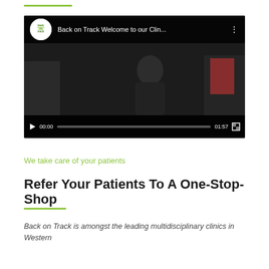[Figure (screenshot): YouTube video player screenshot showing 'Back on Track Welcome to our Clin...' with play button, channel logo, video controls showing 00:00 / 01:57 timecode]
We take care of your patients
Refer Your Patients To A One-Stop-Shop
Back on Track is amongst the leading multidisciplinary clinics in Western